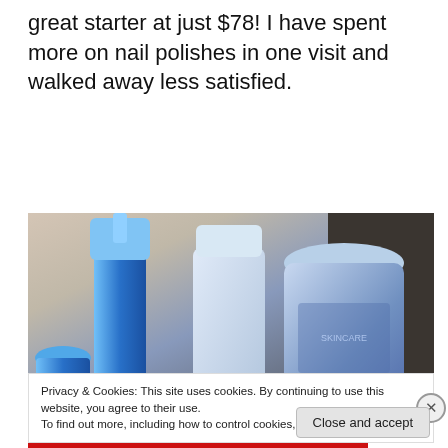great starter at just $78!  I have spent more on nail polishes in one visit and walked away less satisfied.
[Figure (photo): Photo of several blue cosmetic/skincare bottles and containers arranged on a surface with beige and dark background]
Privacy & Cookies: This site uses cookies. By continuing to use this website, you agree to their use.
To find out more, including how to control cookies, see here: Cookie Policy
Close and accept